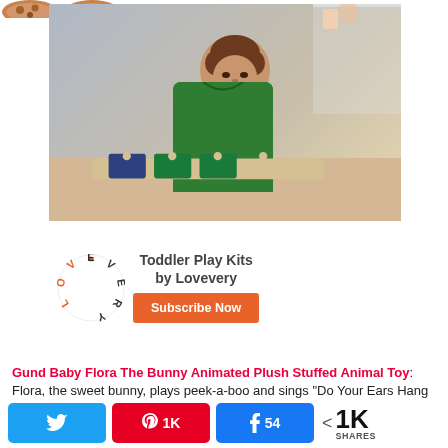[Figure (photo): Partial image of baked goods/cookies at the top left corner of the page]
[Figure (photo): Lovevery advertisement showing a toddler playing with a wooden toy kit at a table. The ad includes a circular Lovevery logo with letters arranged in a circle, text reading 'Toddler Play Kits by Lovevery', and an orange 'Subscribe Now' button.]
Gund Baby Flora The Bunny Animated Plush Stuffed Animal Toy: Flora, the sweet bunny, plays peek-a-boo and sings “Do Your Ears Hang Low.” The ears flap during the interactive game and song. This cutie is appropriate for all ages.
[Figure (infographic): Social share bar with Twitter button (blue), Pinterest button showing '1K' (red), Facebook button showing '54' (blue), and total share count '< 1K SHARES']